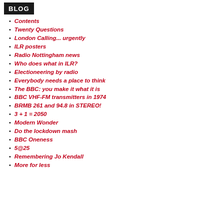BLOG
Contents
Twenty Questions
London Calling... urgently
ILR posters
Radio Nottingham news
Who does what in ILR?
Electioneering by radio
Everybody needs a place to think
The BBC: you make it what it is
BBC VHF-FM transmitters in 1974
BRMB 261 and 94.8 in STEREO!
3 + 1 = 2050
Modern Wonder
Do the lockdown mash
BBC Oneness
5@25
Remembering Jo Kendall
More for less